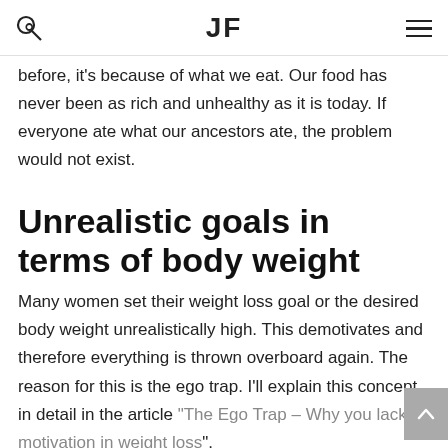JF
before, it's because of what we eat. Our food has never been as rich and unhealthy as it is today. If everyone ate what our ancestors ate, the problem would not exist.
Unrealistic goals in terms of body weight
Many women set their weight loss goal or the desired body weight unrealistically high. This demotivates and therefore everything is thrown overboard again. The reason for this is the ego trap. I'll explain this concept in detail in the article "The Ego Trap – Why you lack motivation in weight loss".